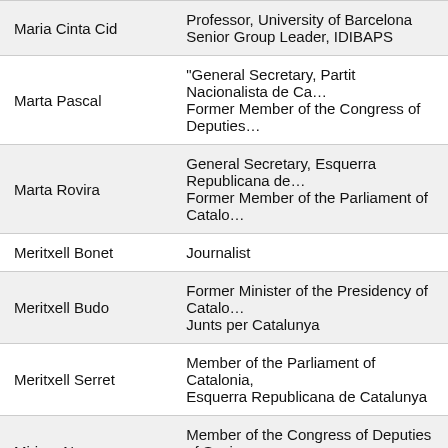| Name | Role |
| --- | --- |
| Maria Cinta Cid | Professor, University of Barcelona
Senior Group Leader, IDIBAPS |
| Marta Pascal | “General Secretary, Partit Nacionalista de Ca…
Former Member of the Congress of Deputies… |
| Marta Rovira | General Secretary, Esquerra Republicana de…
Former Member of the Parliament of Catalo… |
| Meritxell Bonet | Journalist |
| Meritxell Budo | Former Minister of the Presidency of Catalo…
Junts per Catalunya |
| Meritxell Serret | Member of the Parliament of Catalonia,
Esquerra Republicana de Catalunya |
| Miriam Nogueras | Member of the Congress of Deputies of Spai…
Junts per Catalunya |
| Oriol Sagrera | General Secretary of the Ministry of Business…
Former Head of the Cabinet of the Presiden… |